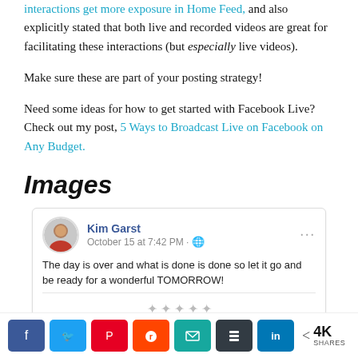interactions get more exposure in Home Feed, and also explicitly stated that both live and recorded videos are great for facilitating these interactions (but especially live videos).
Make sure these are part of your posting strategy!
Need some ideas for how to get started with Facebook Live? Check out my post, 5 Ways to Broadcast Live on Facebook on Any Budget.
Images
[Figure (screenshot): Facebook post by Kim Garst dated October 15 at 7:42 PM saying: The day is over and what is done is done so let it go and be ready for a wonderful TOMORROW!]
[Figure (infographic): Social media share bar with Facebook, Twitter, Pinterest, Reddit, Email, Buffer, LinkedIn buttons and 4K SHARES count]